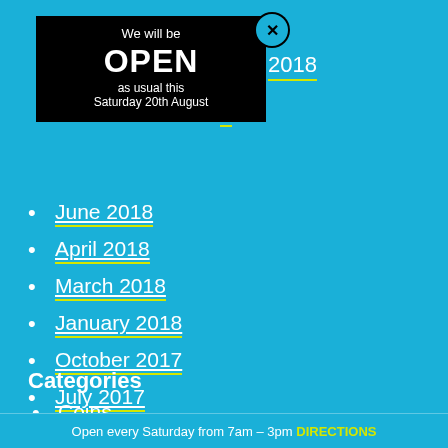[Figure (infographic): Black notification box overlay showing 'We will be OPEN as usual this Saturday 20th August' with a close (x) button in the top right corner, on a bright blue background.]
June 2018
April 2018
March 2018
January 2018
October 2017
July 2017
May 2017
April 2017
Categories
Coins
Ephemera
Open every Saturday from 7am – 3pm DIRECTIONS